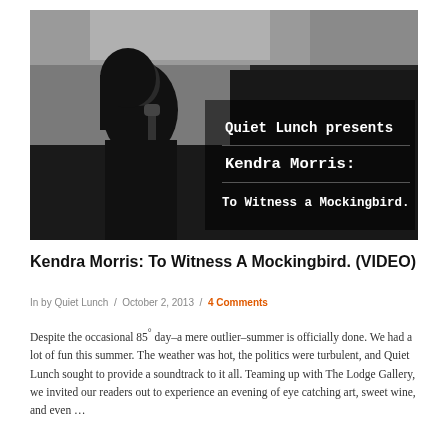[Figure (photo): Black and white photo of a woman speaking into a microphone at an event. Text overlay on the right side reads: 'Quiet Lunch presents Kendra Morris: To Witness a Mockingbird.']
Kendra Morris: To Witness A Mockingbird. (VIDEO)
In by Quiet Lunch / October 2, 2013 / 4 Comments
Despite the occasional 85° day–a mere outlier–summer is officially done. We had a lot of fun this summer. The weather was hot, the politics were turbulent, and Quiet Lunch sought to provide a soundtrack to it all. Teaming up with The Lodge Gallery, we invited our readers out to experience an evening of eye catching art, sweet wine, and even …